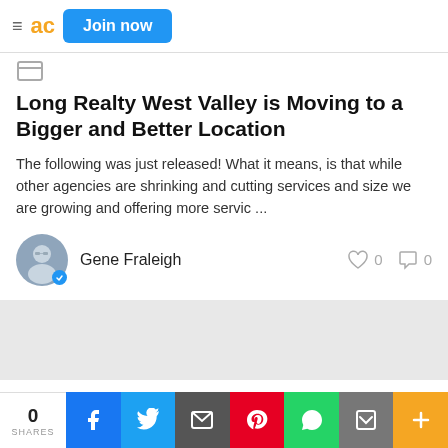Join now
Long Realty West Valley is Moving to a Bigger and Better Location
The following was just released! What it means, is that while other agencies are shrinking and cutting services and size we are growing and offering more servic ...
Gene Fraleigh
Home Buying   about 9 years ago
What I do for my clients, particularly
0 SHARES  Facebook  Twitter  Email  Pinterest  WhatsApp  Print  More